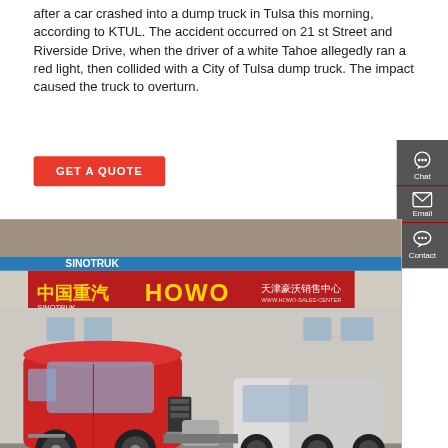after a car crashed into a dump truck in Tulsa this morning, according to KTUL. The accident occurred on 21 st Street and Riverside Drive, when the driver of a white Tahoe allegedly ran a red light, then collided with a City of Tulsa dump truck. The impact caused the truck to overturn.
[Figure (other): Red button with white text reading GET A QUOTE]
[Figure (other): Sidebar with dark grey background showing Chat (headset icon), Email (envelope icon), and Contact (chat bubble icon) options]
[Figure (photo): Photo of a red Sinotruk HOWO semi-truck cab parked in front of a Sinotruk HOWO dealership building with Chinese signage reading 中国重汽 SINOTRUK HOWO 天津豪沃销售中心]